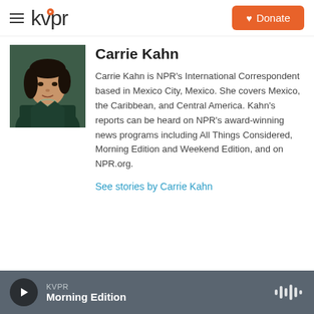KVPR | Donate
Carrie Kahn
[Figure (photo): Headshot of Carrie Kahn, a woman with dark hair wearing a dark teal jacket]
Carrie Kahn is NPR's International Correspondent based in Mexico City, Mexico. She covers Mexico, the Caribbean, and Central America. Kahn's reports can be heard on NPR's award-winning news programs including All Things Considered, Morning Edition and Weekend Edition, and on NPR.org.
See stories by Carrie Kahn
KVPR Morning Edition